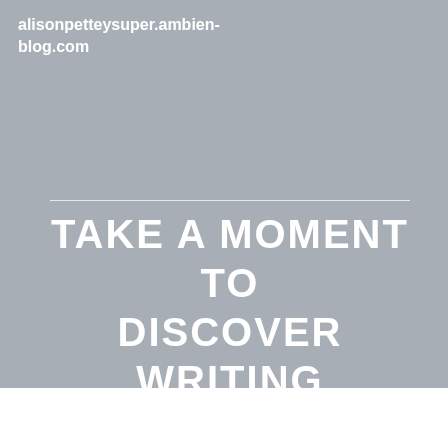alisonpetteysuper.ambien-blog.com
TAKE A MOMENT TO DISCOVER WRITING A BLOG IN THIS ARTICLE